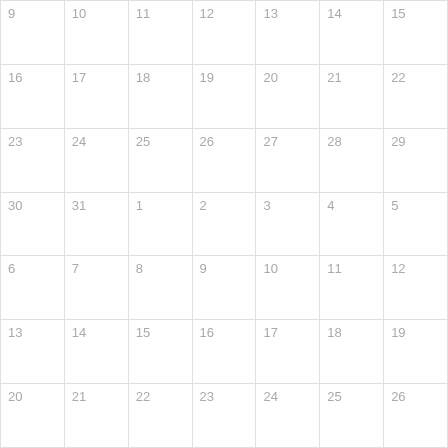| 9 | 10 | 11 | 12 | 13 | 14 | 15 |
| 16 | 17 | 18 | 19 | 20 | 21 | 22 |
| 23 | 24 | 25 | 26 | 27 | 28 | 29 |
| 30 | 31 | 1 | 2 | 3 | 4 | 5 |
| 6 | 7 | 8 | 9 | 10 | 11 | 12 |
| 13 | 14 | 15 | 16 | 17 | 18 | 19 |
| 20 | 21 | 22 | 23 | 24 | 25 | 26 |